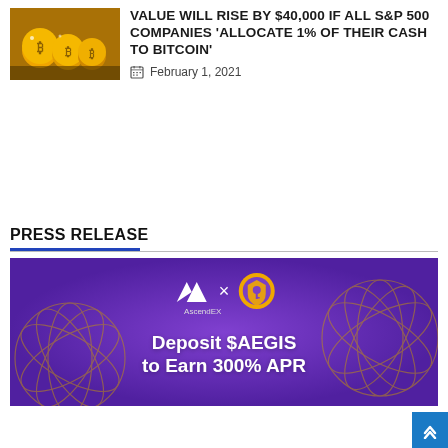[Figure (photo): Photo of gold Bitcoin coins on a surface]
VALUE WILL RISE BY $40,000 IF ALL S&P 500 COMPANIES 'ALLOCATE 1% OF THEIR CASH TO BITCOIN'
February 1, 2021
PRESS RELEASE
[Figure (infographic): AscendEX x AEGIS partnership banner. Purple background with gold geometric globe patterns. AscendEX logo and AEGIS shield logo. Text: Deposit $AEGIS to Earn 300% APR]